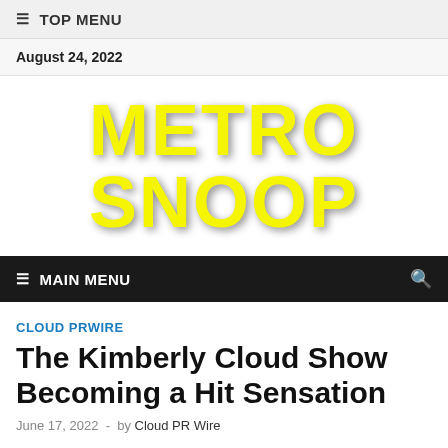≡ TOP MENU
August 24, 2022
METRO SNOOP
≡ MAIN MENU
CLOUD PRWIRE
The Kimberly Cloud Show Becoming a Hit Sensation
June 17, 2022 - by Cloud PR Wire